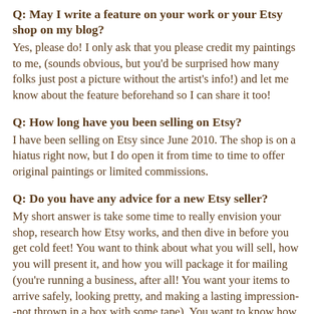Q: May I write a feature on your work or your Etsy shop on my blog?
Yes, please do! I only ask that you please credit my paintings to me, (sounds obvious, but you'd be surprised how many folks just post a picture without the artist's info!) and let me know about the feature beforehand so I can share it too!
Q: How long have you been selling on Etsy?
I have been selling on Etsy since June 2010. The shop is on a hiatus right now, but I do open it from time to time to offer original paintings or limited commissions.
Q: Do you have any advice for a new Etsy seller?
My short answer is take some time to really envision your shop, research how Etsy works, and then dive in before you get cold feet! You want to think about what you will sell, how you will present it, and how you will package it for mailing (you're running a business, after all! You want your items to arrive safely, looking pretty, and making a lasting impression--not thrown in a box with some tape). You want to know how Internet search engines will find your shop, how to take good photos (or scans), and how to price your wares. And